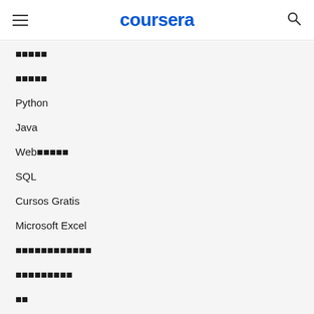coursera
■■■■■
■■■■■
Python
Java
Web■■■■■
SQL
Cursos Gratis
Microsoft Excel
■■■■■■■■■■■■
■■■■■■■■■
■■
■■■■■■■■■■■■■
■■■■■■■■
■■■■■■■■■■